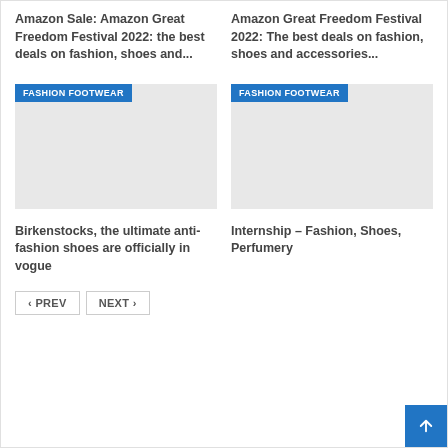Amazon Sale: Amazon Great Freedom Festival 2022: the best deals on fashion, shoes and...
Amazon Great Freedom Festival 2022: The best deals on fashion, shoes and accessories...
[Figure (other): Fashion Footwear image placeholder with blue badge]
[Figure (other): Fashion Footwear image placeholder with blue badge]
Birkenstocks, the ultimate anti-fashion shoes are officially in vogue
Internship – Fashion, Shoes, Perfumery
< PREV
NEXT >